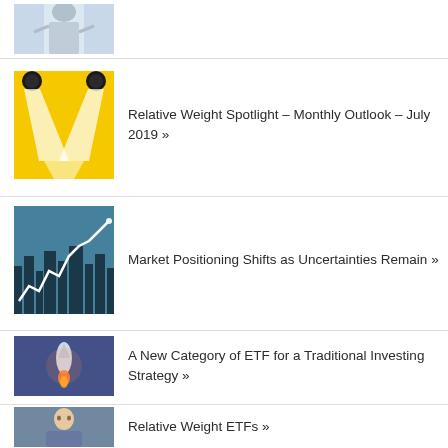[Figure (photo): Partial view of a person with arms raised, cropped at top]
Relative Weight Spotlight – Monthly Outlook – July 2019 »
Market Positioning Shifts as Uncertainties Remain »
A New Category of ETF for a Traditional Investing Strategy »
Relative Weight ETFs »